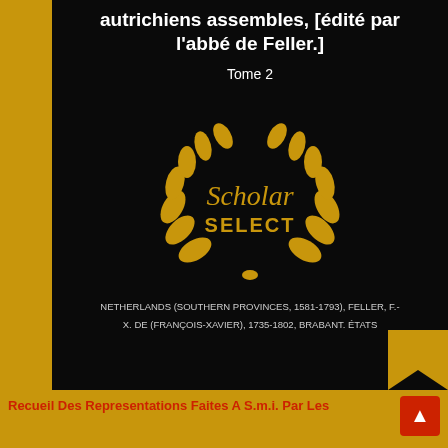autrichiens assembles, [édité par l'abbé de Feller.]
Tome 2
[Figure (logo): Scholar Select laurel wreath logo with gold leaves surrounding the text 'Scholar SELECT' in the center on a black background]
NETHERLANDS (SOUTHERN PROVINCES, 1581-1793), FELLER, F.-X. DE (FRANÇOIS-XAVIER), 1735-1802, BRABANT. ÉTATS
Recueil Des Representations Faites A S.m.i. Par Les